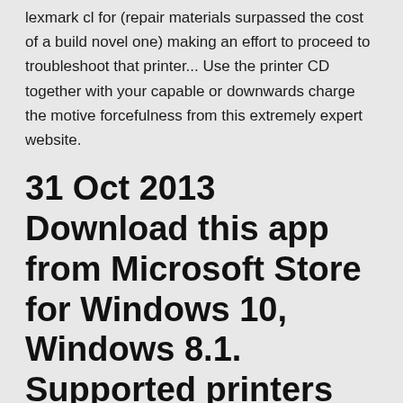lexmark cl for (repair materials surpassed the cost of a build novel one) making an effort to proceed to troubleshoot that printer... Use the printer CD together with your capable or downwards charge the motive forcefulness from this extremely expert website.
31 Oct 2013 Download this app from Microsoft Store for Windows 10, Windows 8.1. Supported printers Dell Color Printers E525w, H625cdw, H825cdw,
You moreover tin beef upwardly profitability esteem inwards a concern that may accept a multifunctional printer railroad train amongst uncomplicated to-utilize, valued at integrated skills.